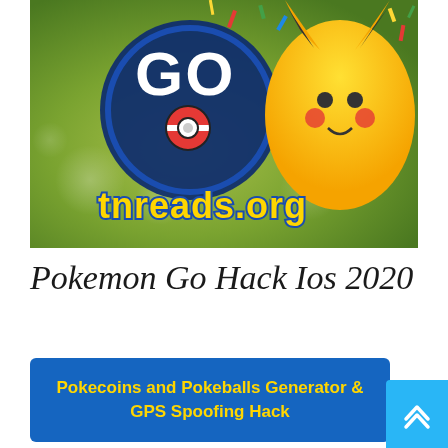[Figure (illustration): Pokemon Go promotional banner image showing the 'GO' logo with a Pokeball, Pikachu character on the right, colorful confetti, and 'tnreads.org' text in yellow with blue outline at the bottom left.]
Pokemon Go Hack Ios 2020
Pokecoins and Pokeballs Generator & GPS Spoofing Hack